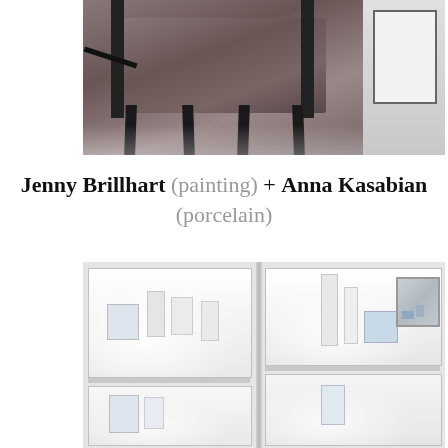[Figure (photo): Top portion of page showing a dark upholstered chair or sofa with brown/mauve cushion, black metal frame legs, with a white background gallery space and a framed artwork visible on the right side.]
Jenny Brillhart (painting) + Anna Kasabian (porcelain)
[Figure (photo): Gallery installation photo showing white display alcoves/niches on a wall, with small porcelain sculptures and paintings displayed on shelves within the alcoves. Bright gallery lighting illuminates the pieces. A painting is visible in the upper right alcove.]